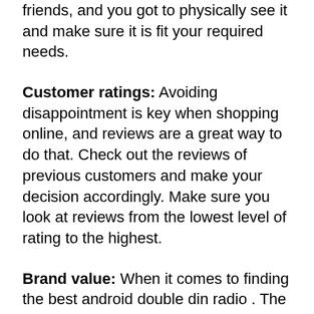friends, and you got to physically see it and make sure it is fit your required needs.
Customer ratings: Avoiding disappointment is key when shopping online, and reviews are a great way to do that. Check out the reviews of previous customers and make your decision accordingly. Make sure you look at reviews from the lowest level of rating to the highest.
Brand value: When it comes to finding the best android double din radio . The product quality of well-known brands is excellent and you won't need to worry about the service life.
In order to buy a product from an old brand,